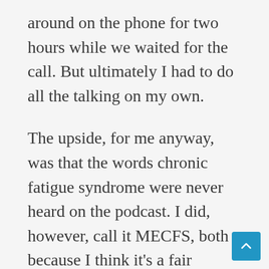around on the phone for two hours while we waited for the call. But ultimately I had to do all the talking on my own.
The upside, for me anyway, was that the words chronic fatigue syndrome were never heard on the podcast. I did, however, call it MECFS, both because I think it's a fair compromise and because I'm vocally challenged. I can only speak so many syllables before my voice gives out. And I didn't want to use them all trying to annunciate myalgic encephalomyelitis, especially on a podcast that is likely listened to by millions of people. That would have only added embarrassment